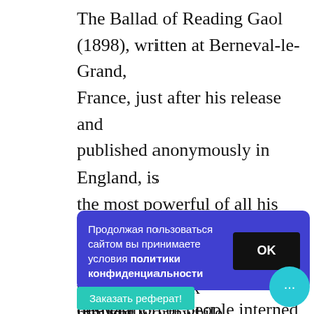The Ballad of Reading Gaol (1898), written at Berneval-le-Grand, France, just after his release and published anonymously in England, is the most powerful of all his poems. The starkness of prison life and the desperation of people interned are revealed in beautifully cadenced language. For years after his death the name of Oscar Wilde bore the stigma attached to it by Victorian prudery whose best work remains worthwhile relevant.
Продолжая пользоваться сайтом вы принимаете условия политики конфиденциальности
OK
Заказать реферат!